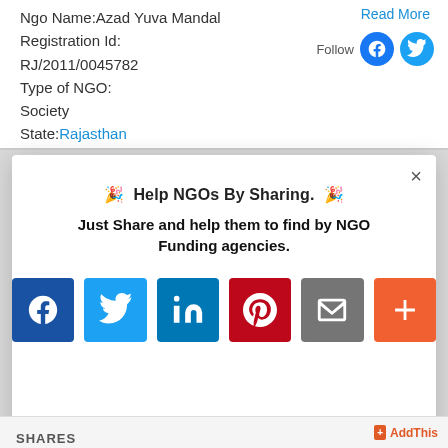Ngo Name:Azad Yuva Mandal
Registration Id:
RJ/2011/0045782
Type of NGO:
Society
State:Rajasthan
Read More
Follow
🎉 Help NGOs By Sharing. 🎉
Just Share and help them to find by NGO Funding agencies.
[Figure (infographic): Social sharing buttons: Facebook, Twitter, LinkedIn, Pinterest, Email, More(+)]
SHARES  AddThis